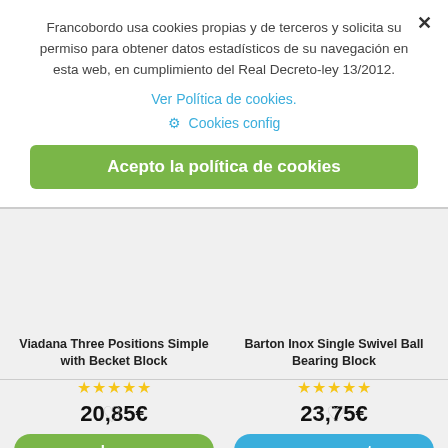Francobordo usa cookies propias y de terceros y solicita su permiso para obtener datos estadísticos de su navegación en esta web, en cumplimiento del Real Decreto-ley 13/2012.
Ver Política de cookies.
⚙ Cookies config
Acepto la política de cookies
Viadana Three Positions Simple with Becket Block
★★★★★
20,85€
buy
Delivery in 24 hours
TAX incl.
Barton Inox Single Swivel Ball Bearing Block
★★★★★
23,75€
on request
It can be more than 30 days
TAX incl.